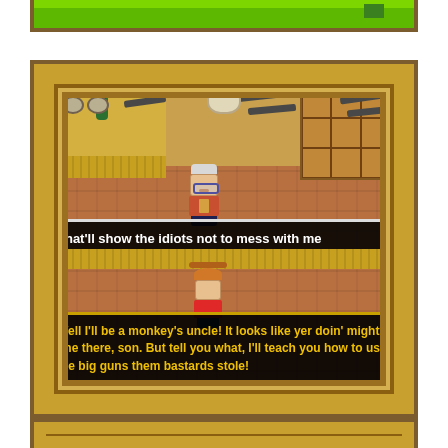[Figure (screenshot): Top partial screenshot of a retro-style video game showing a western-themed gun shop interior with wooden borders, guns on walls, skull trophy, and green background visible at top.]
[Figure (screenshot): Main screenshot of a retro western-style video game interior. An old man NPC character with white hair and glasses stands in a gun shop. A dialog box reads 'That'll show the idiots not to mess with me'. The player character wearing an orange cowboy hat is below. A second dialog box reads: 'Well I'll be a monkey's uncle! It looks like yer doin' mighty fine there, son. But tell you what, I'll teach you how to use the big guns them bastards stole!']
[Figure (screenshot): Partial bottom screenshot showing the top portion of the same western gun shop interior with goggles, guns, and skull trophy decorations on the wooden border.]